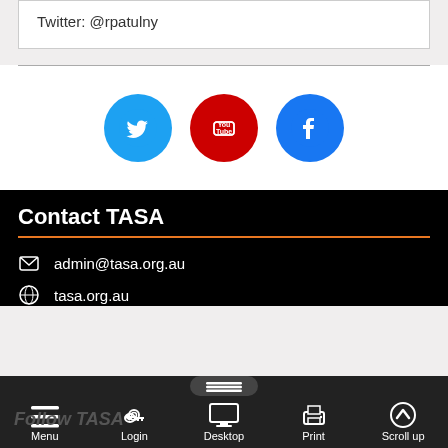Twitter: @rpatulny
[Figure (infographic): Three social media icons: Twitter (blue bird), YouTube (red), Facebook (blue)]
Contact TASA
admin@tasa.org.au
tasa.org.au
Follow TASA  Menu  Login  Desktop  Print  Scroll up